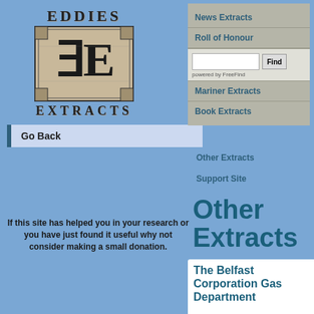[Figure (logo): Eddies Extracts logo with stylized EE monogram and ornate border]
Go Back
[Figure (screenshot): Navigation panel with links: News Extracts, Roll of Honour, Mariner Extracts, Book Extracts, and a search box powered by FreeFind]
Other Extracts
Support Site
If this site has helped you in your research or you have just found it useful why not consider making a small donation.
Other Extracts
The Belfast Corporation Gas Department